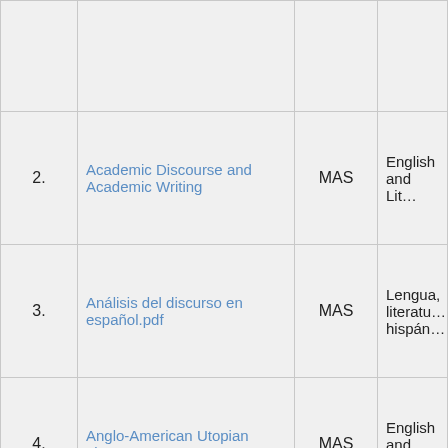| # | Title | Type | Department |
| --- | --- | --- | --- |
|  |  |  |  |
| 2. | Academic Discourse and Academic Writing | MAS | English and Lit… |
| 3. | Análisis del discurso en español.pdf | MAS | Lengua, literatu… hispán… |
| 4. | Anglo-American Utopian Literature | MAS | English and Lit… |
| 5. | Aperçu des théories sémantiques en français 1 | UAS | Langue… français… |
| 6. | Aperçu des théories sémantiques en français… | UAS | Langue… |